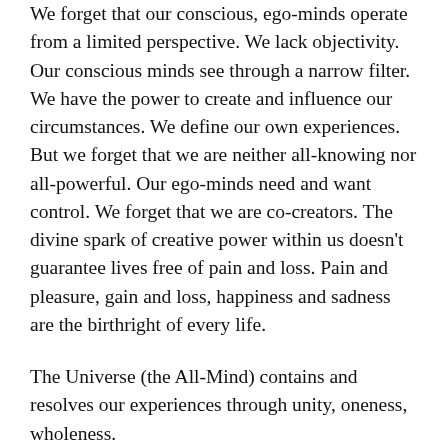We forget that our conscious, ego-minds operate from a limited perspective. We lack objectivity. Our conscious minds see through a narrow filter. We have the power to create and influence our circumstances. We define our own experiences.  But we forget that we are neither all-knowing nor all-powerful. Our ego-minds need and want control. We forget that we are co-creators. The divine spark of creative power within us doesn't guarantee lives free of pain and loss. Pain and pleasure, gain and loss, happiness and sadness are the birthright of every life.
The Universe (the All-Mind) contains and resolves our experiences through unity, oneness, wholeness.
Another way we fall into error is that sometimes we don't realize all the possibilities that are open to us. If anything most of us make the mistake of dreaming too small; we don't ask for or expect too much, but too little. We cheat ourselves by fixating on something that might represent